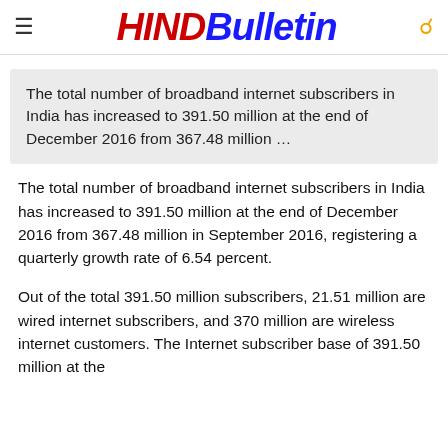HIND Bulletin
The total number of broadband internet subscribers in India has increased to 391.50 million at the end of December 2016 from 367.48 million …
The total number of broadband internet subscribers in India has increased to 391.50 million at the end of December 2016 from 367.48 million in September 2016, registering a quarterly growth rate of 6.54 percent.
Out of the total 391.50 million subscribers, 21.51 million are wired internet subscribers, and 370 million are wireless internet customers. The Internet subscriber base of 391.50 million at the